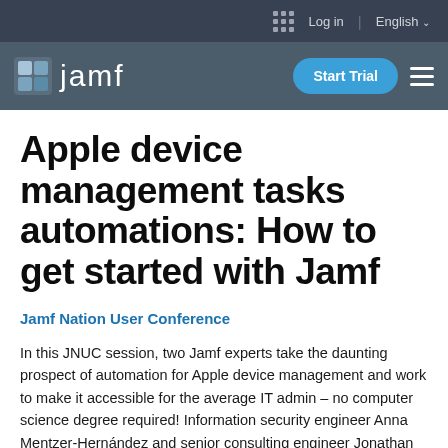Log in | English
[Figure (logo): Jamf logo with blue/grey icon and white text on dark grey navigation bar, with Start Trial button and hamburger menu]
Apple device management tasks automations: How to get started with Jamf
Jamf Nation User Conference
In this JNUC session, two Jamf experts take the daunting prospect of automation for Apple device management and work to make it accessible for the average IT admin – no computer science degree required! Information security engineer Anna Mentzer-Hernández and senior consulting engineer Jonathan